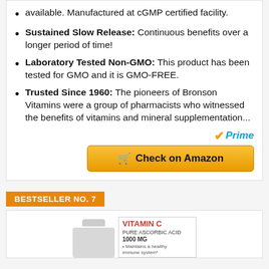available. Manufactured at cGMP certified facility.
Sustained Slow Release: Continuous benefits over a longer period of time!
Laboratory Tested Non-GMO: This product has been tested for GMO and it is GMO-FREE.
Trusted Since 1960: The pioneers of Bronson Vitamins were a group of pharmacists who witnessed the benefits of vitamins and mineral supplementation...
[Figure (logo): Amazon Prime logo with checkmark and 'Prime' text in blue italic]
[Figure (other): Check on Amazon button in gold/yellow with shopping cart icon]
BESTSELLER NO. 7
[Figure (photo): Vitamin C Pure Ascorbic Acid 1000mg supplement bottle and box product image]